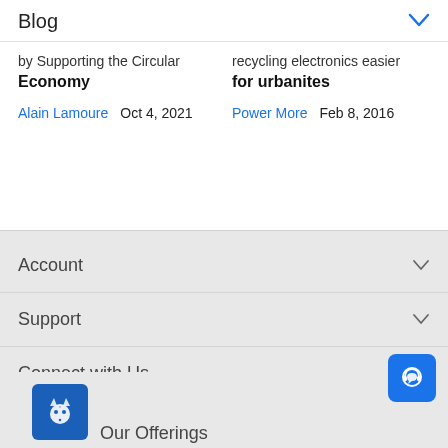Blog
by Supporting the Circular Economy
recycling electronics easier for urbanites
Alain Lamoure   Oct 4, 2021
Power More   Feb 8, 2016
Account
Support
Connect with Us
US/EN
Our Offerings